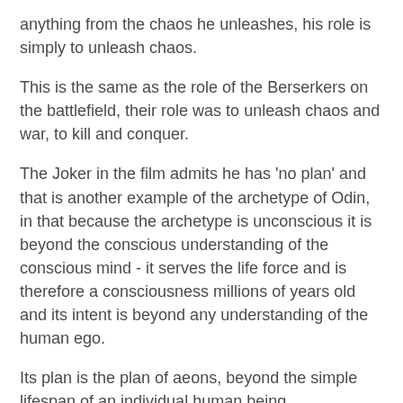anything from the chaos he unleashes, his role is simply to unleash chaos.
This is the same as the role of the Berserkers on the battlefield, their role was to unleash chaos and war, to kill and conquer.
The Joker in the film admits he has 'no plan' and that is another example of the archetype of Odin, in that because the archetype is unconscious it is beyond the conscious understanding of the conscious mind - it serves the life force and is therefore a consciousness millions of years old and its intent is beyond any understanding of the human ego.
Its plan is the plan of aeons, beyond the simple lifespan of an individual human being.
Heath Ledger by unlocking this arhcetype unleashed a darkness within himself he was unable to control.
In order to control the archetype he needed to understand the 'Sun' side of the archetype, that of the Odinic veneration